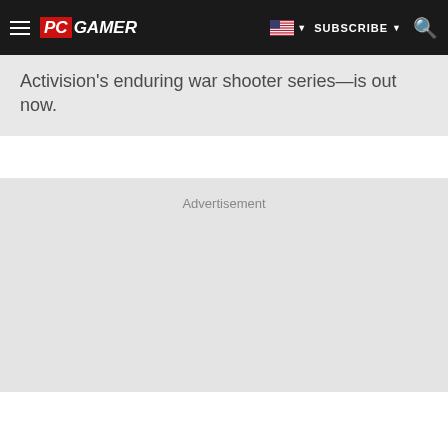PC GAMER | SUBSCRIBE
Activision's enduring war shooter series—is out now.
Advertisement